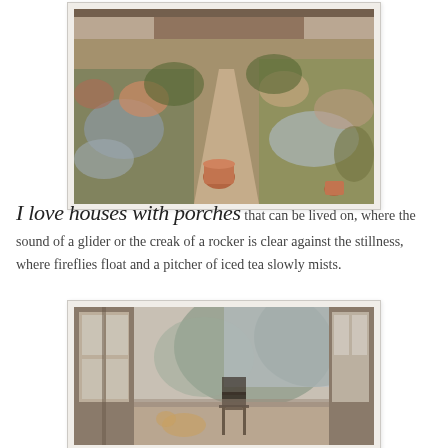[Figure (photo): Painting of a cottage garden with a path leading to a house, surrounded by lush flowers, terracotta pots, and dense plantings in warm autumn tones.]
I love houses with porches that can be lived on, where the sound of a glider or the creak of a rocker is clear against the stillness, where fireflies float and a pitcher of iced tea slowly mists.
[Figure (photo): Painting of a porch or veranda scene viewed from outside, with open doors/windows, a wooden chair, and trees visible in the background, in muted sepia and grey tones.]